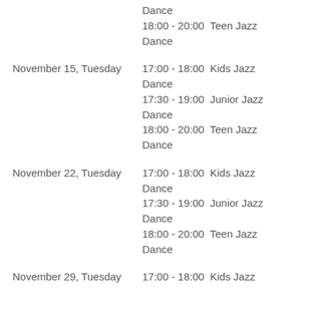Dance
18:00 - 20:00  Teen Jazz Dance
November 15, Tuesday
17:00 - 18:00  Kids Jazz Dance
17:30 - 19:00  Junior Jazz Dance
18:00 - 20:00  Teen Jazz Dance
November 22, Tuesday
17:00 - 18:00  Kids Jazz Dance
17:30 - 19:00  Junior Jazz Dance
18:00 - 20:00  Teen Jazz Dance
November 29, Tuesday
17:00 - 18:00  Kids Jazz